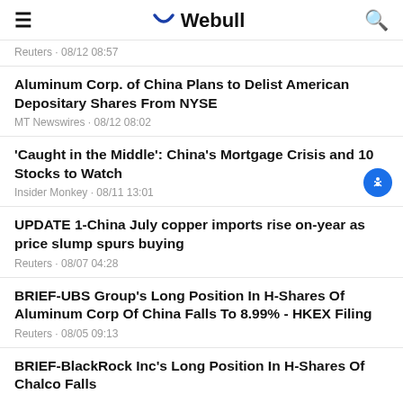Webull
Reuters · 08/12 08:57
Aluminum Corp. of China Plans to Delist American Depositary Shares From NYSE
MT Newswires · 08/12 08:02
'Caught in the Middle': China's Mortgage Crisis and 10 Stocks to Watch
Insider Monkey · 08/11 13:01
UPDATE 1-China July copper imports rise on-year as price slump spurs buying
Reuters · 08/07 04:28
BRIEF-UBS Group's Long Position In H-Shares Of Aluminum Corp Of China Falls To 8.99% - HKEX Filing
Reuters · 08/05 09:13
BRIEF-BlackRock Inc's Long Position In H-Shares Of Chalco Falls